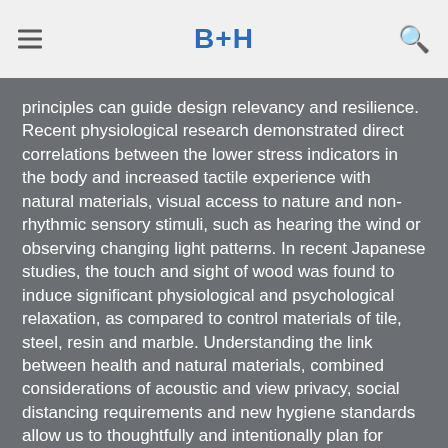B+H
be designed to promote human health, safety and comfort. Biophilia uses a philosophical construct. In a post-COVID-19 world, biophilic design principles can guide design relevancy and resilience. Recent physiological research demonstrated direct correlations between the lower stress indicators in the body and increased tactile experience with natural materials, visual access to nature and non-rhythmic sensory stimuli, such as hearing the wind or observing changing light patterns. In recent Japanese studies, the touch and sight of wood was found to induce significant physiological and psychological relaxation, as compared to control materials of tile, steel, resin and marble. Understanding the link between health and natural materials, combined considerations of acoustic and view privacy, social distancing requirements and new hygiene standards allow us to thoughtfully and intentionally plan for healing spaces.
Health is the new wealth. There are many existing standards, such as the WELL Building standard, and design strategies, such as operable windows, that